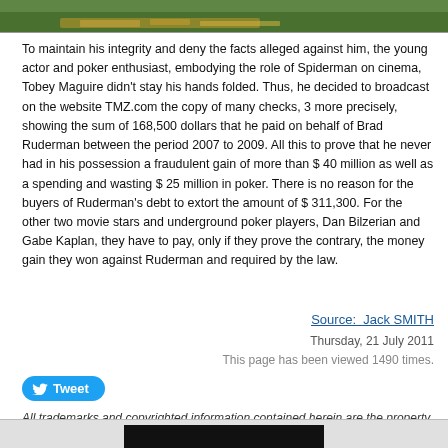[Figure (photo): Partial photo of a poker table with chips, cropped at top of frame]
To maintain his integrity and deny the facts alleged against him, the young actor and poker enthusiast, embodying the role of Spiderman on cinema, Tobey Maguire didn't stay his hands folded. Thus, he decided to broadcast on the website TMZ.com the copy of many checks, 3 more precisely, showing the sum of 168,500 dollars that he paid on behalf of Brad Ruderman between the period 2007 to 2009. All this to prove that he never had in his possession a fraudulent gain of more than $ 40 million as well as a spending and wasting $ 25 million in poker. There is no reason for the buyers of Ruderman's debt to extort the amount of $ 311,300. For the other two movie stars and underground poker players, Dan Bilzerian and Gabe Kaplan, they have to pay, only if they prove the contrary, the money gain they won against Ruderman and required by the law.
Source:  Jack SMITH
Thursday, 21 July 2011
This page has been viewed 1490 times.
[Figure (other): Tweet button with Twitter bird icon]
All trademarks and copyrighted information contained herein are the property of their respective owners.
[Figure (photo): Black bar at bottom of page, partial image]